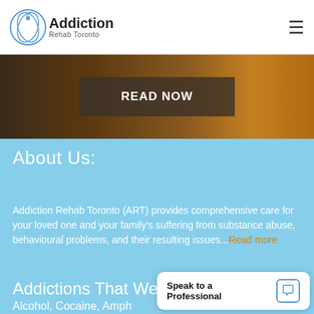[Figure (logo): Addiction Rehab Toronto logo with circular icon and text]
[Figure (photo): Hero banner with silhouette against sunset sky, READ NOW button overlay]
About Us:
Addiction Rehab Toronto (ART) provides comprehensive care for your loved one and your family's suffering from substance abuse, behavioural problems, and their resulting issues...Read more
Addictions That We
Alcohol, Cocaine, Amph
Speak to a Professional